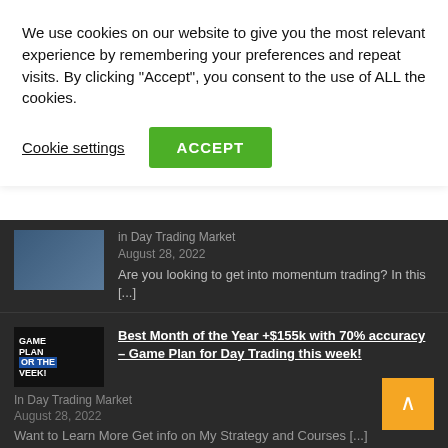We use cookies on our website to give you the most relevant experience by remembering your preferences and repeat visits. By clicking "Accept", you consent to the use of ALL the cookies.
Cookie settings
ACCEPT
in Day Trading Market
August 28, 2022
Are you looking to get into momentum trading? In this [...]
Best Month of the Year +$155k with 70% accuracy – Game Plan for Day Trading this week!
In Day Trading Market
August 28, 2022
Want to Learn More Get info on My Strategy and Courses [...]